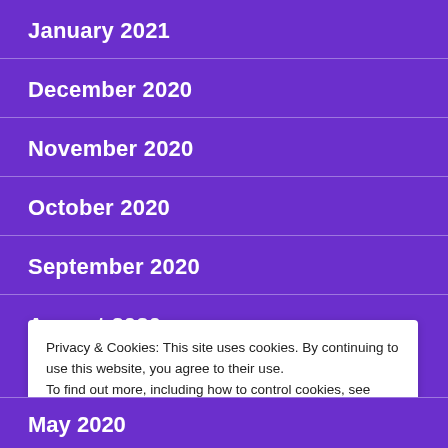January 2021
December 2020
November 2020
October 2020
September 2020
August 2020
Privacy & Cookies: This site uses cookies. By continuing to use this website, you agree to their use.
To find out more, including how to control cookies, see here: Cookie Policy
May 2020